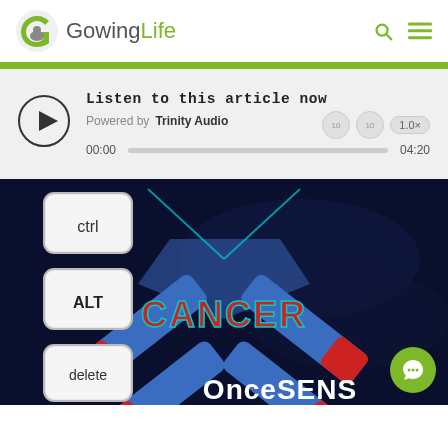[Figure (logo): Gowing Life logo with green and grey G icon and text 'Gowing Life' in grey and green]
[Figure (screenshot): Audio player widget: 'Listen to this article now', Powered by Trinity Audio, play button, progress bar 00:00 to 04:20, speed 1.0x]
[Figure (photo): Dark background image showing keyboard keys (ctrl, ALT, delete), a large X shape in blue and red, text CANCER and OnceSENS]